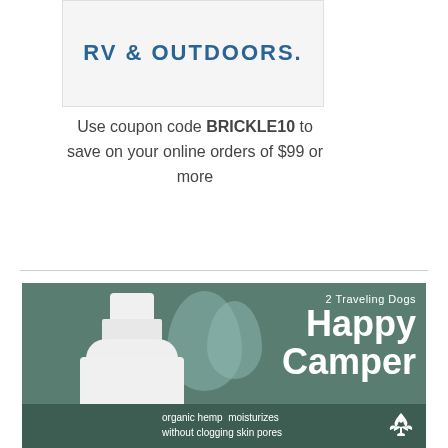[Figure (logo): RV & OUTDOORS logo in bold blue text on light gray background]
Use coupon code BRICKLE10 to save on your online orders of $99 or more
[Figure (advertisement): 2 Traveling Dogs Happy Camper organic hemp product advertisement with teal/green background, white bottle, water drop shapes, and hemp leaf icon. Text reads: '2 Traveling Dogs Happy Camper - organic hemp moisturizes without clogging skin pores']